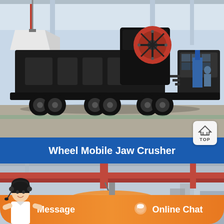[Figure (photo): Wheel Mobile Jaw Crusher machine on a trailer in an industrial facility. Large black jaw crusher mounted on a wheeled chassis with red flywheel visible. Indoor factory/warehouse setting.]
Wheel Mobile Jaw Crusher
[Figure (photo): Orange industrial equipment (appears to be a ball mill or similar grinding machine) suspended from red crane beams in a factory interior. Person visible on left side.]
Message
Online Chat